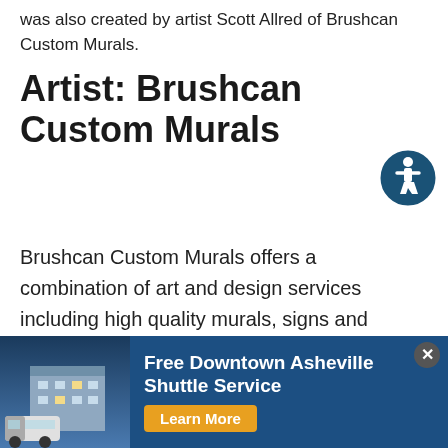was also created by artist Scott Allred of Brushcan Custom Murals.
Artist: Brushcan Custom Murals
[Figure (illustration): Accessibility icon — a circular dark blue button with a white person/wheelchair accessibility symbol in the center, bordered by a white ring.]
Brushcan Custom Murals offers a combination of art and design services including high quality murals, signs and specialty/faux finishes for a diverse clientele. Created in 2014 by artists Scott Allred and Jeremy Russell, Brushcan has contributed many murals to the South Slope neighborhood and the greater
[Figure (photo): Advertisement banner for a hotel shuttle service. Shows a hotel building with a shuttle van at dusk on the left. Text reads: Free Downtown Asheville Shuttle Service with a Learn More button in orange/yellow. Dark blue background. Close (x) button in top right.]